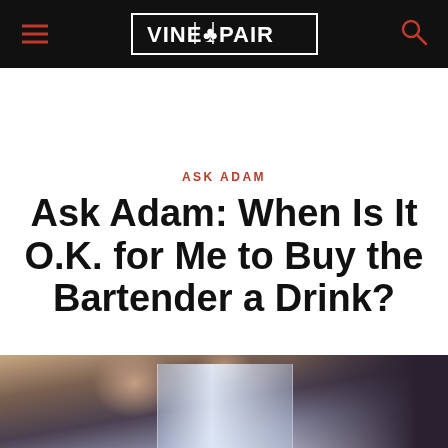VINEPAIR
ASK ADAM
Ask Adam: When Is It O.K. for Me to Buy the Bartender a Drink?
[Figure (photo): Close-up photo of a hand holding a cocktail shaker, partially visible at the bottom of the page]